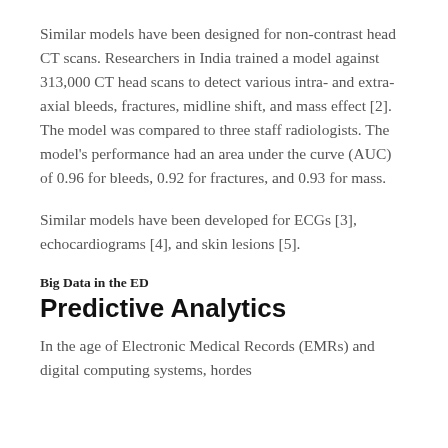Similar models have been designed for non-contrast head CT scans. Researchers in India trained a model against 313,000 CT head scans to detect various intra- and extra-axial bleeds, fractures, midline shift, and mass effect [2]. The model was compared to three staff radiologists. The model's performance had an area under the curve (AUC) of 0.96 for bleeds, 0.92 for fractures, and 0.93 for mass.
Similar models have been developed for ECGs [3], echocardiograms [4], and skin lesions [5].
Big Data in the ED
Predictive Analytics
In the age of Electronic Medical Records (EMRs) and digital computing systems, hordes